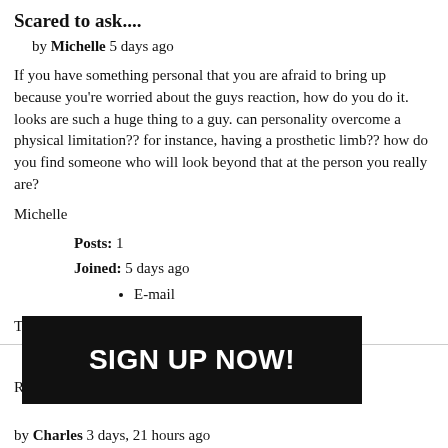Scared to ask....
by Michelle 5 days ago
If you have something personal that you are afraid to bring up because you're worried about the guys reaction, how do you do it. looks are such a huge thing to a guy. can personality overcome a physical limitation?? for instance, having a prosthetic limb?? how do you find someone who will look beyond that at the person you really are?
Michelle
Posts: 1
Joined: 5 days ago
E-mail
Top
[Figure (other): Black banner overlay with bold white text: SIGN UP NOW!]
R...
by Charles 3 days, 21 hours ago